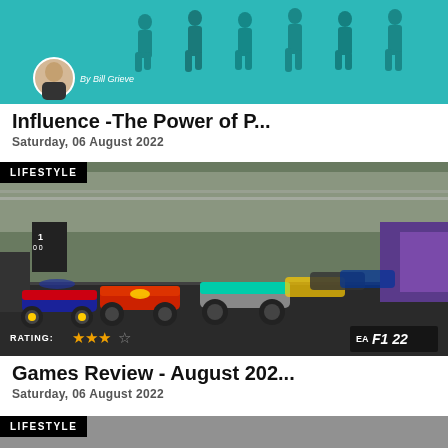[Figure (illustration): Teal/turquoise background illustration showing silhouettes of people walking, with a circular avatar of a man in a suit and 'By Bill Grieve' text overlay]
Influence -The Power of P...
Saturday, 06 August 2022
[Figure (photo): F1 22 video game screenshot showing Formula 1 cars racing on a street circuit, with 'RATING: ★★★☆' overlay and EA F1 22 logo in bottom right]
LIFESTYLE
Games Review - August 202...
Saturday, 06 August 2022
LIFESTYLE